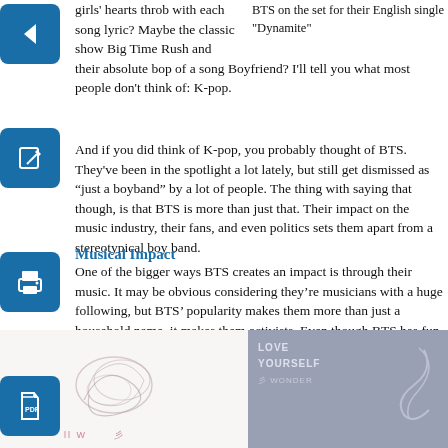BTS on the set for their English single "Dynamite"
girls' hearts throb with each song lyric? Maybe the classic show Big Time Rush and their absolute bop of a song Boyfriend? I'll tell you what most people don't think of: K-pop.
And if you did think of K-pop, you probably thought of BTS. They've been in the spotlight a lot lately, but still get dismissed as “just a boyband” by a lot of people. The thing with saying that though, is that BTS is more than just that. Their impact on the music industry, their fans, and even politics sets them apart from a stereotypical boy band.
Musical Impact
One of the bigger ways BTS creates an impact is through their music. It may be obvious considering they’re musicians with a huge following, but BTS’ popularity makes them more than just a household name, it makes them activists. Even though BTS has fun, playful songs throughout their discography, a majority much stronger messages about things like mental health, loving one’s self and even political commentary. Every song BTS makes has the ability to make someone connect with it, regardless of how well they understand Korean.
[Figure (illustration): Left: BTS album art with handwritten-style swirling lines and text at bottom. Right: 'Love Yourself: Wonder' album cover with gray/purple background and signature-style swirl.]